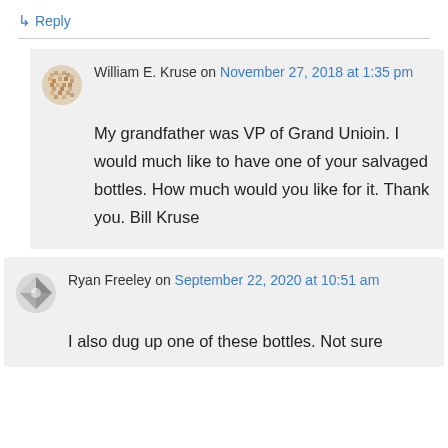↳ Reply
William E. Kruse on November 27, 2018 at 1:35 pm
My grandfather was VP of Grand Unioin. I would much like to have one of your salvaged bottles. How much would you like for it. Thank you. Bill Kruse
Ryan Freeley on September 22, 2020 at 10:51 am
I also dug up one of these bottles. Not sure